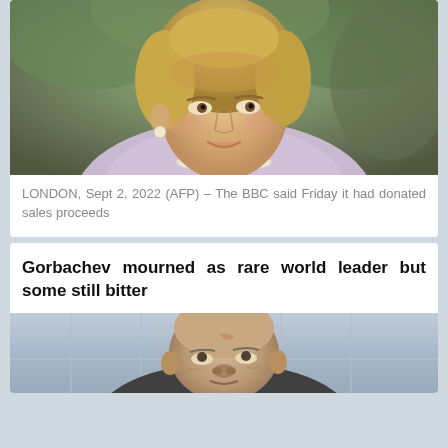[Figure (photo): Portrait photo of Princess Diana, wearing a light lavender/pink jacket and pearl necklace, smiling, with short blonde hair, against a blurred outdoor background]
LONDON, Sept 2, 2022 (AFP) – The BBC said Friday it had donated sales proceeds
Gorbachev mourned as rare world leader but some still bitter
[Figure (photo): Photo of Mikhail Gorbachev, elderly man, looking upward, with building facade visible in background]